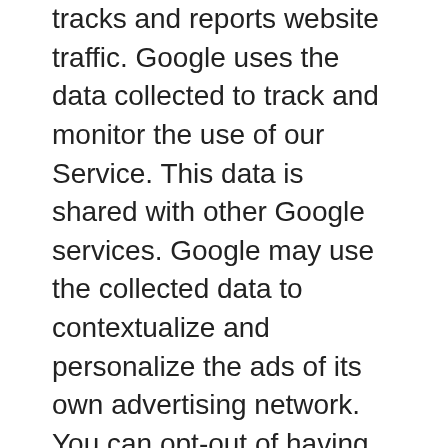tracks and reports website traffic. Google uses the data collected to track and monitor the use of our Service. This data is shared with other Google services. Google may use the collected data to contextualize and personalize the ads of its own advertising network. You can opt-out of having made your activity on the Service available to Google Analytics by installing the Google Analytics opt-out browser add-on. The add-on prevents the Google Analytics JavaScript (ga.js, analytics.js, and dc.js) from sharing information with Google Analytics about visits activity. For more information on the privacy